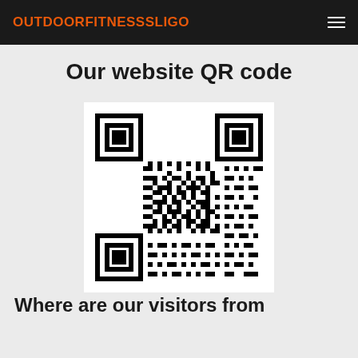OUTDOORFITNESSSLIGO
Our website QR code
[Figure (other): QR code for the Outdoor Fitness Sligo website]
Where are our visitors from